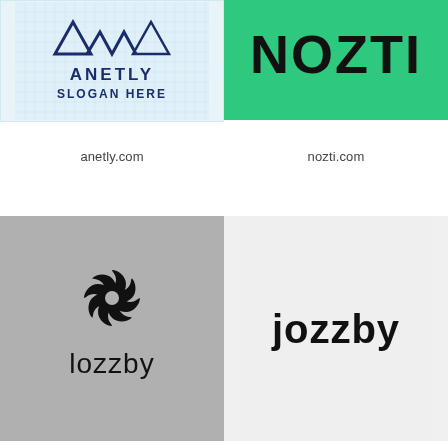[Figure (logo): Anetly logo with triangle/mountain symbol on light blue grid background, text ANETLY SLOGAN HERE in dark blue]
[Figure (logo): NOZTI logo text in bold black on bright green background]
anetly.com
nozti.com
[Figure (logo): lozzby logo with spiral sun/pinwheel icon above text 'lozzby' on gray background]
[Figure (logo): jozzby logo text in rounded black font on light gray background]